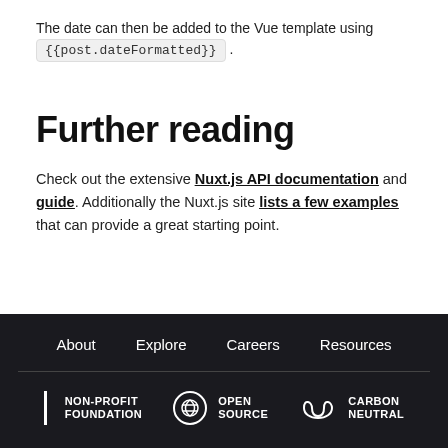The date can then be added to the Vue template using {{post.dateFormatted}} .
Further reading
Check out the extensive Nuxt.js API documentation and guide. Additionally the Nuxt.js site lists a few examples that can provide a great starting point.
About  Explore  Careers  Resources  NON-PROFIT FOUNDATION  OPEN SOURCE  CARBON NEUTRAL